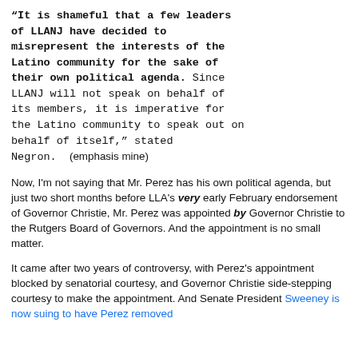“It is shameful that a few leaders of LLANJ have decided to misrepresent the interests of the Latino community for the sake of their own political agenda. Since LLANJ will not speak on behalf of its members, it is imperative for the Latino community to speak out on behalf of itself,” stated Negron. (emphasis mine)
Now, I'm not saying that Mr. Perez has his own political agenda, but just two short months before LLA's very early February endorsement of Governor Christie, Mr. Perez was appointed by Governor Christie to the Rutgers Board of Governors. And the appointment is no small matter.
It came after two years of controversy, with Perez's appointment blocked by senatorial courtesy, and Governor Christie side-stepping courtesy to make the appointment. And Senate President Sweeney is now suing to have Perez removed